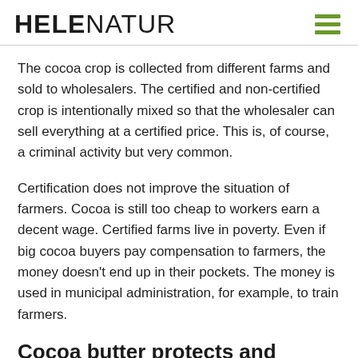HELENATUR
The cocoa crop is collected from different farms and sold to wholesalers. The certified and non-certified crop is intentionally mixed so that the wholesaler can sell everything at a certified price. This is, of course, a criminal activity but very common.
Certification does not improve the situation of farmers. Cocoa is still too cheap to workers earn a decent wage. Certified farms live in poverty. Even if big cocoa buyers pay compensation to farmers, the money doesn't end up in their pockets. The money is used in municipal administration, for example, to train farmers.
Cocoa butter protects and